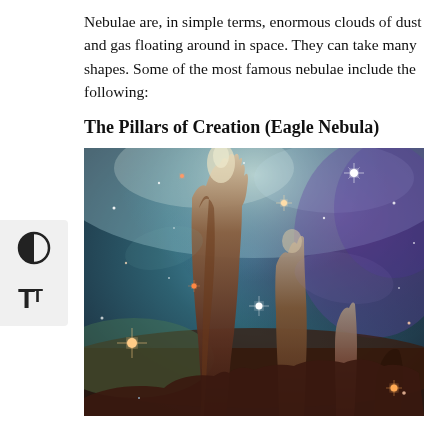Nebulae are, in simple terms, enormous clouds of dust and gas floating around in space. They can take many shapes. Some of the most famous nebulae include the following:
The Pillars of Creation (Eagle Nebula)
[Figure (photo): Hubble Space Telescope image of the Pillars of Creation in the Eagle Nebula, showing tall columns of gas and dust in shades of brown, teal, and blue against a starfield.]